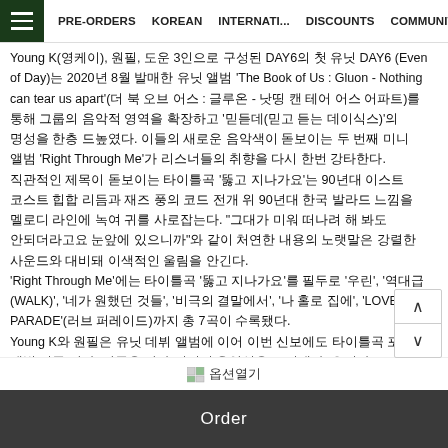≡ PRE-ORDERS KOREAN INTERNATI... DISCOUNTS COMMUNITY
Young K(영케이), 원필, 도운 3인으로 구성된 DAY6의 첫 유닛 DAY6 (Even of Day)는 2020년 8월 발매한 유닛 앨범 'The Book of Us : Gluon - Nothing can tear us apart'(더 북 오브 어스 : 글루온 - 낫띵 캔 테어 어스 어파트)를 통해 그룹의 음악적 영역을 확장하고 '믿듣데(믿고 듣는 데이식스)'의 명성을 한층 드높였다. 이들의 새로운 음악색이 돋보이는 두 번째 미니 앨범 'Right Through Me'가 리스너들의 취향을 다시 한번 강타한다.
직관적인 제목이 돋보이는 타이틀곡 '뚫고 지나가요'는 90년대 이스트 코스트 힙합 리듬과 재즈 풍의 코드 전개 위 90년대 한국 발라드 느낌을 멜로디 라인에 녹여 귀를 사로잡는다. "그대가 미워 떠나려 해 봐도 안되더라고요 눈앞에 있으니까"와 같이 처연한 내용의 노랫말은 강렬한 사운드와 대비돼 이색적인 울림을 안긴다.
'Right Through Me'에는 타이틀곡 '뚫고 지나가요'를 필두로 '우린', '역대급 (WALK)', '네가 원했던 것들', '비극의 결말에서', '나 홀로 집에', 'LOVE PARADE'(러브 퍼레이드)까지 총 7곡이 수록됐다.
Young K와 원필은 유닛 데뷔 앨범에 이어 이번 신보에도 타이틀곡 포함 앨범 전곡 작사, 작곡을 맡아 깊어진 음악성을 드러냈다. 우리가 살아가면서 겪는 다양한 관계와 과정 속에서 정면으로 마주하는 감정들을 음악적으로 솔직하게 풀어내며 듣는 이들에게 깊은 공감을 전한다.
DAY6 (Even of Day)는 직접 작업한 새 미니 앨범 'Right Through Me'를 가지고 아 세상에 모든 흔들리는 존재들과 동행하고, 서로의 여정에 담백한 위로를 나눈다.
옵션열기
Order